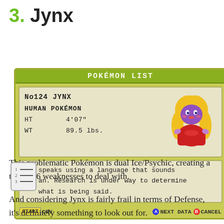3. Jynx
[Figure (screenshot): Pokémon Game Boy Pokédex entry screenshot for No124 JYNX, showing stats and description text. POKÉMON LIST header. Info: No124 JYNX, HUMAN POKÉMON, HT 4'07", WT 89.5 lbs. Description: speaks using a language that sounds an. Research is under way to determine what is being said. Bottom bar: START CRY, ANEXT DATA BCANCEL.]
This problematic Pokémon is dual Ice/Psychic, creating a total of 6 weaknesses to deal with.
And considering Jynx is fairly frail in terms of Defense, it's definitely something to look out for.